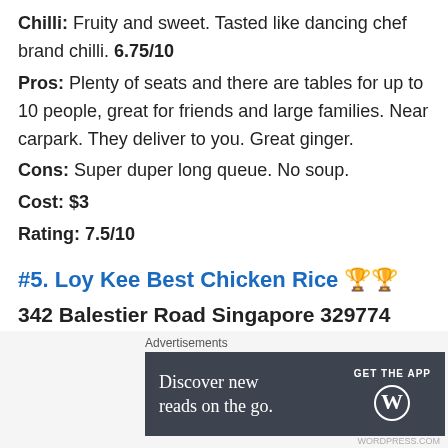Chilli: Fruity and sweet. Tasted like dancing chef brand chilli. 6.75/10
Pros: Plenty of seats and there are tables for up to 10 people, great for friends and large families. Near carpark. They deliver to you. Great ginger.
Cons: Super duper long queue. No soup.
Cost: $3
Rating: 7.5/10
#5. Loy Kee Best Chicken Rice 🏆🏆
342 Balestier Road Singapore 329774
T: 6252 2318
[Figure (infographic): WordPress advertisement banner: 'Discover new reads on the go. GET THE APP' with WordPress logo]